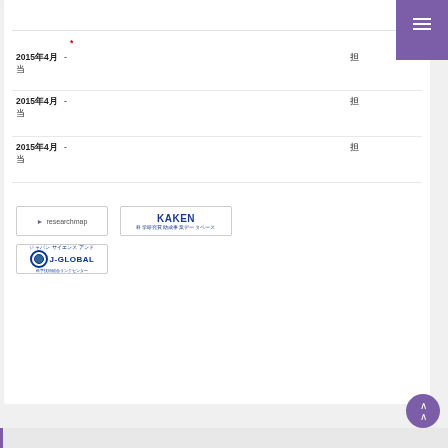*
2015年4月　-　　　　　　　　　　　　　　　担
当
2015年4月　-　　　　　　　　　　　　　　　　　　　　　担
当
2015年4月　-　　　　　　　　　　　　　　　　　　　　　担
当
[Figure (logo): researchmap logo button]
[Figure (logo): KAKEN 科学研究費助成事業データベース logo button]
[Figure (logo): J-GLOBAL logo button]